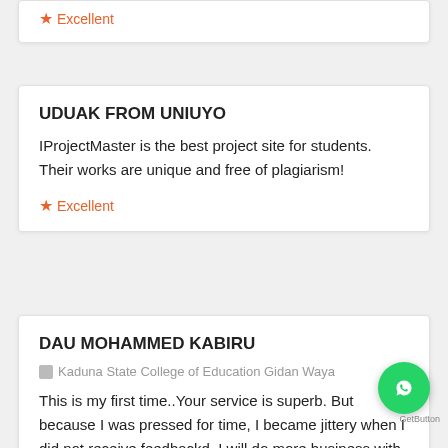★ Excellent
UDUAK FROM UNIUYO
IProjectMaster is the best project site for students. Their works are unique and free of plagiarism!
★ Excellent
DAU MOHAMMED KABIRU
Kaduna State College of Education Gidan Waya
This is my first time..Your service is superb. But because I was pressed for time, I became jittery when I did not receive feedbackd. I will do more business with you and I will recommend you to friends. Thank you.
★ Very Good